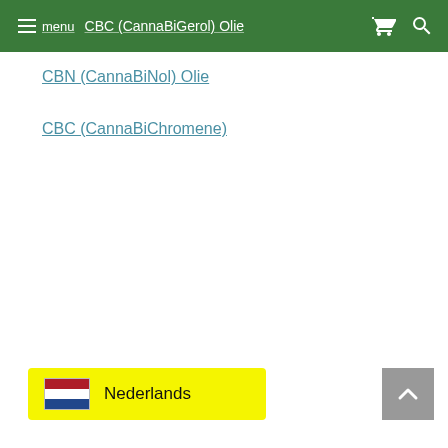CBC (CannaBiGerol) Olie  menu
CBN (CannaBiNol) Olie
CBC (CannaBiChromene)
[Figure (other): Dutch language selector button with Netherlands flag (red/white/blue horizontal stripes) and text 'Nederlands' on yellow background]
[Figure (other): Scroll-to-top button: grey square with white upward chevron arrow]